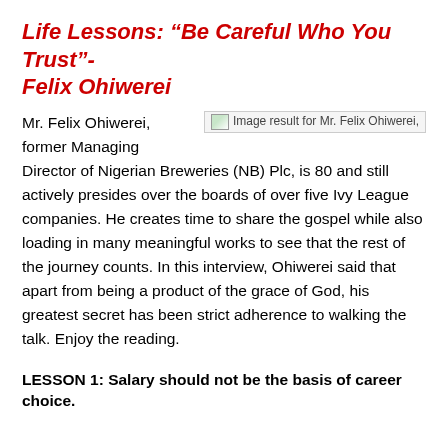Life Lessons: “Be Careful Who You Trust”- Felix Ohiwerei
[Figure (photo): Image result for Mr. Felix Ohiwerei, a placeholder broken image icon with alt text]
Mr. Felix Ohiwerei, former Managing Director of Nigerian Breweries (NB) Plc, is 80 and still actively presides over the boards of over five Ivy League companies. He creates time to share the gospel while also loading in many meaningful works to see that the rest of the journey counts. In this interview, Ohiwerei said that apart from being a product of the grace of God, his greatest secret has been strict adherence to walking the talk. Enjoy the reading.
LESSON 1: Salary should not be the basis of career choice.